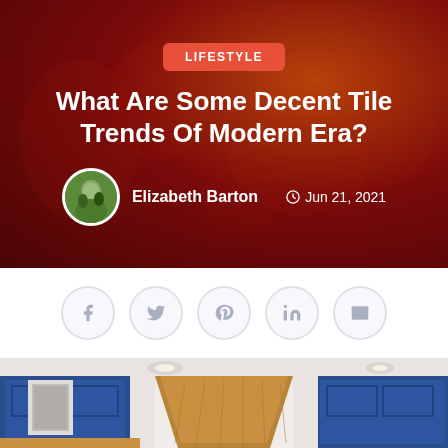LIFESTYLE
What Are Some Decent Tile Trends Of Modern Era?
Elizabeth Barton  Jun 21, 2021
[Figure (infographic): Social share icons: Facebook, Twitter, Pinterest, LinkedIn, Email]
[Figure (photo): Kitchen interior with blue cabinets and wooden range hood]